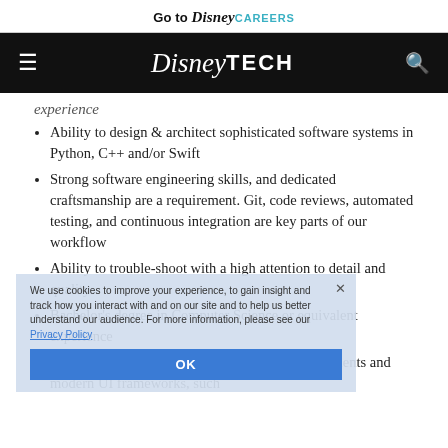Go to Disney CAREERS
[Figure (logo): Disney TECH navigation bar with hamburger menu icon on left, Disney Tech logo in center (white on black), search icon on right]
experience
Ability to design & architect sophisticated software systems in Python, C++ and/or Swift
Strong software engineering skills, and dedicated craftsmanship are a requirement. Git, code reviews, automated testing, and continuous integration are key parts of our workflow
Ability to trouble-shoot with a high attention to detail and quality
Bachelor's degree in Computer Science or equivalent experience
Proficiency in macOS/iOS and/or Linux environments and modern UI frameworks, such